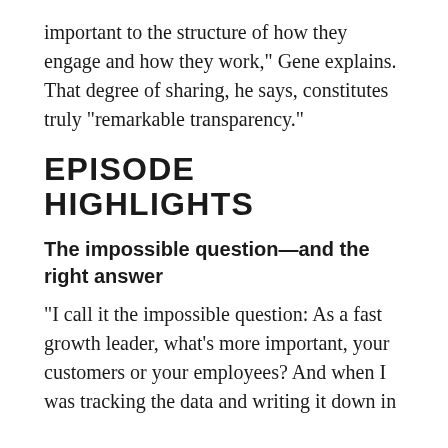important to the structure of how they engage and how they work,” Gene explains. That degree of sharing, he says, constitutes truly “remarkable transparency.”
EPISODE HIGHLIGHTS
The impossible question—and the right answer
“I call it the impossible question: As a fast growth leader, what’s more important, your customers or your employees? And when I was tracking the data and writing it down in